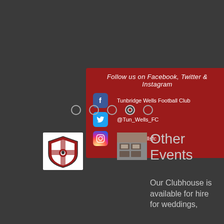[Figure (infographic): Red social media follow banner for Tunbridge Wells Football Club showing Facebook (Tunbridge Wells Football Club), Twitter (@Tun_Wells_FC), and Instagram (tunbridgewellsfc) handles with respective icons]
[Figure (other): Pagination dots: five circles in a row, fourth one is active/filled]
[Figure (logo): Tunbridge Wells Football Club crest/badge on white background]
[Figure (photo): Small thumbnail photo of the clubhouse interior showing tables and chairs]
Other Events
Our Clubhouse is available for hire for weddings,